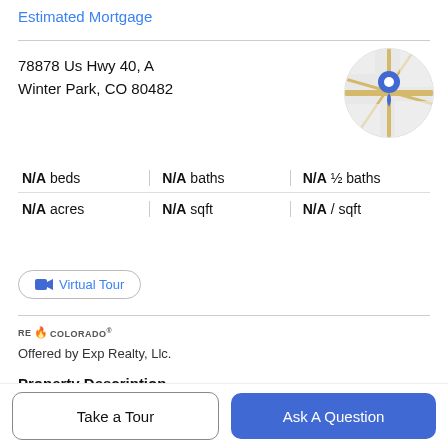Estimated Mortgage
78878 Us Hwy 40, A
Winter Park, CO 80482
[Figure (map): Circular map thumbnail showing location with blue map pin marker]
| N/A beds | N/A baths | N/A ½ baths |
| N/A acres | N/A sqft | N/A / sqft |
Virtual Tour
RE🔥COLORADO
Offered by Exp Realty, Llc.
Property Description
Take a Tour
Ask A Question